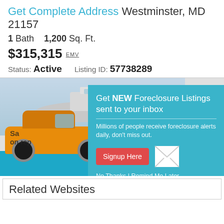Get Complete Address Westminster, MD 21157
1 Bath  1,200 Sq. Ft.
$315,315 EMV
Status: Active    Listing ID: 57738289
[Figure (screenshot): Advertisement showing a yellow car against a blue background with a teal popup overlay promoting foreclosure listing email alerts, with a red Signup Here button and No Thanks | Remind Me Later links, and partial text 'Sa... on rep...' visible on the ad image]
Related Websites